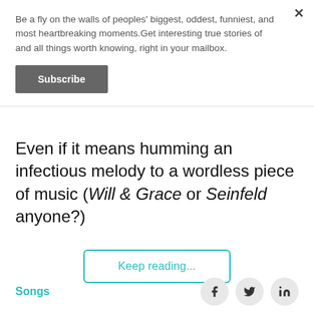Be a fly on the walls of peoples' biggest, oddest, funniest, and most heartbreaking moments.Get interesting true stories of and all things worth knowing, right in your mailbox.
Subscribe
Even if it means humming an infectious melody to a wordless piece of music (Will & Grace or Seinfeld anyone?)
Keep reading...
Songs